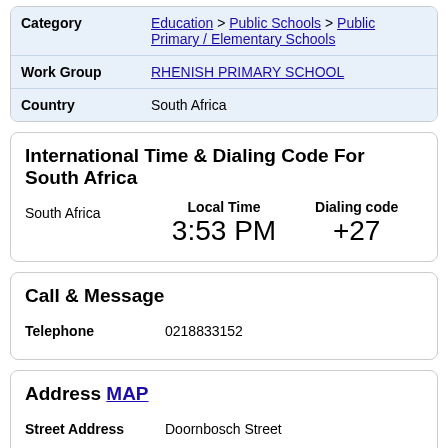| Field | Value |
| --- | --- |
| Category | Education > Public Schools > Public Primary / Elementary Schools |
| Work Group | RHENISH PRIMARY SCHOOL |
| Country | South Africa |
International Time & Dialing Code For South Africa
|  | Local Time | Dialing code |
| --- | --- | --- |
| South Africa | 3:53 PM | +27 |
Call & Message
Telephone: 0218833152
Address MAP
Street Address: Doornbosch Street
City: Krigeville